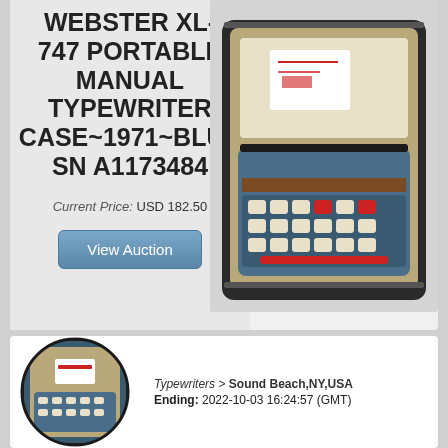WEBSTER XL-747 PORTABLE MANUAL TYPEWRITER CASE~1971~BLUE SN A1173484
Current Price: USD 182.50
View Auction
[Figure (photo): Photo of a blue Webster XL-747 portable manual typewriter open in its case, showing the keyboard with cream and red keys, on a white surface.]
[Figure (photo): Circular thumbnail of the same Webster XL-747 typewriter in its closed case, viewed from above.]
Typewriters > Sound Beach,NY,USA
Ending: 2022-10-03 16:24:57 (GMT)